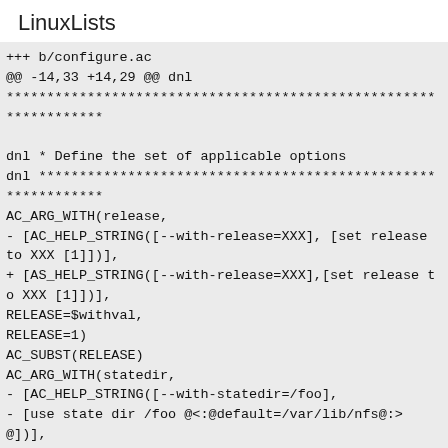LinuxLists
+++ b/configure.ac
@@ -14,33 +14,29 @@ dnl
*****************************************************************

dnl * Define the set of applicable options
dnl *************************************************************
AC_ARG_WITH(release,
- [AC_HELP_STRING([--with-release=XXX], [set release to XXX [1]])],
+ [AS_HELP_STRING([--with-release=XXX],[set release to XXX [1]])],
RELEASE=$withval,
RELEASE=1)
AC_SUBST(RELEASE)
AC_ARG_WITH(statedir,
- [AC_HELP_STRING([--with-statedir=/foo],
- [use state dir /foo @<:@default=/var/lib/nfs@:>@])],
+ [AS_HELP_STRING([--with-statedir=/foo],[use state dir /foo